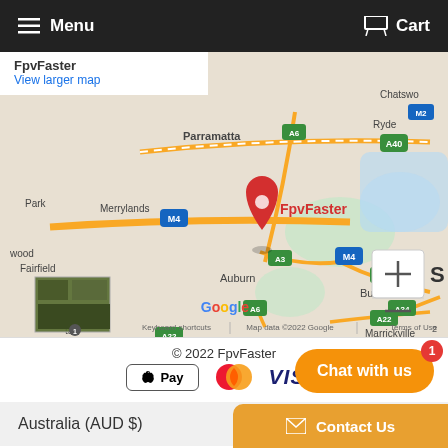Menu | Cart
[Figure (map): Google Maps screenshot showing FpvFaster location near Auburn, Sydney, Australia. Map shows surrounding suburbs including Parramatta, Merrylands, Fairfield, Ryde, Burwood, Marrickville. Red pin marker labeled FpvFaster. Roads including A40, A6, M4, A3, A22, A34 visible. Google logo and 'Keyboard shortcuts | Map data ©2022 Google | Terms of Use' at bottom.]
© 2022 FpvFaster
[Figure (logo): Payment method icons: Apple Pay button, Mastercard logo, VISA logo]
Australia (AUD $)
Chat with us
Contact Us